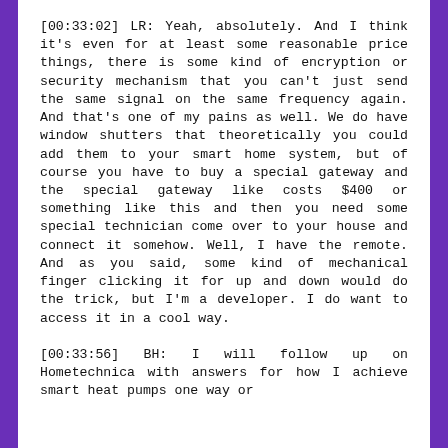[00:33:02] LR: Yeah, absolutely. And I think it's even for at least some reasonable price things, there is some kind of encryption or security mechanism that you can't just send the same signal on the same frequency again. And that's one of my pains as well. We do have window shutters that theoretically you could add them to your smart home system, but of course you have to buy a special gateway and the special gateway like costs $400 or something like this and then you need some special technician come over to your house and connect it somehow. Well, I have the remote. And as you said, some kind of mechanical finger clicking it for up and down would do the trick, but I'm a developer. I do want to access it in a cool way.
[00:33:56] BH: I will follow up on Hometechnica with answers for how I achieve smart heat pumps one way or